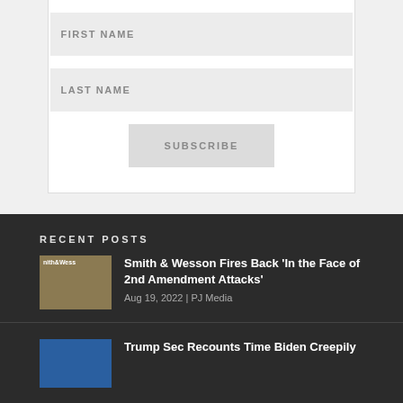[Figure (screenshot): Form input field with placeholder text FIRST NAME on light gray background]
[Figure (screenshot): Form input field with placeholder text LAST NAME on light gray background]
[Figure (screenshot): Subscribe button with text SUBSCRIBE]
RECENT POSTS
[Figure (photo): Thumbnail image showing Smith & Wesson branded firearms]
Smith & Wesson Fires Back 'In the Face of 2nd Amendment Attacks'
Aug 19, 2022 | PJ Media
[Figure (photo): Thumbnail image for Trump article, blue background]
Trump Sec Recounts Time Biden Creepily